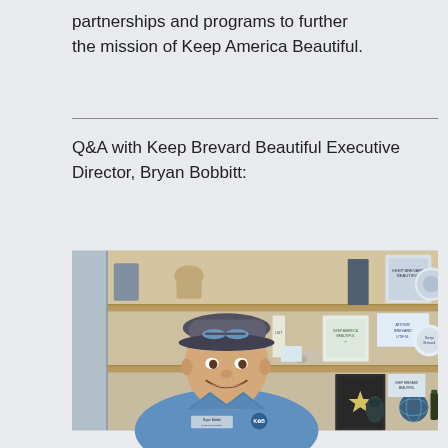partnerships and programs to further the mission of Keep America Beautiful.
Q&A with Keep Brevard Beautiful Executive Director, Bryan Bobbitt:
[Figure (photo): Photo of Bryan Bobbitt, Executive Director of Keep Brevard Beautiful, smiling and wearing a blue polo shirt with his name tag and the Keep Brevard Beautiful logo, standing in front of a wooden shelf with awards and plaques.]